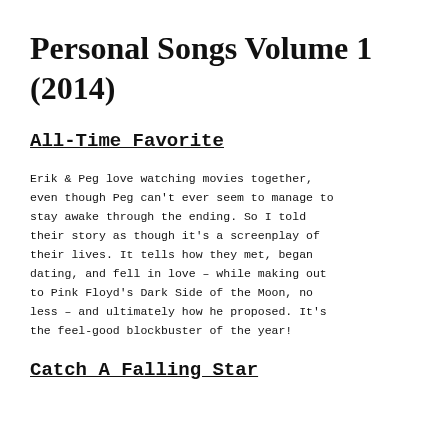Personal Songs Volume 1 (2014)
All-Time Favorite
Erik & Peg love watching movies together, even though Peg can't ever seem to manage to stay awake through the ending. So I told their story as though it's a screenplay of their lives. It tells how they met, began dating, and fell in love – while making out to Pink Floyd's Dark Side of the Moon, no less – and ultimately how he proposed. It's the feel-good blockbuster of the year!
Catch A Falling Star